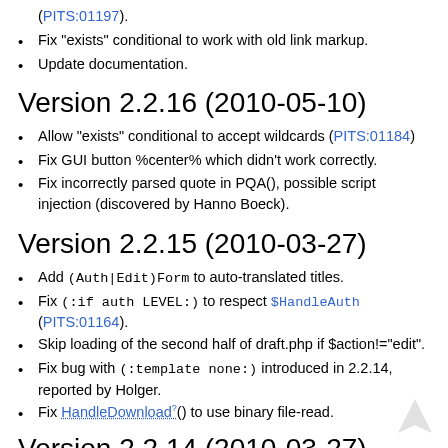(PITS:01197).
Fix "exists" conditional to work with old link markup.
Update documentation.
Version 2.2.16 (2010-05-10)
Allow "exists" conditional to accept wildcards (PITS:01184)
Fix GUI button %center% which didn't work correctly.
Fix incorrectly parsed quote in PQA(), possible script injection (discovered by Hanno Boeck).
Version 2.2.15 (2010-03-27)
Add (Auth|Edit)Form to auto-translated titles.
Fix (:if auth LEVEL:) to respect $HandleAuth (PITS:01164).
Skip loading of the second half of draft.php if $action!="edit".
Fix bug with (:template none:) introduced in 2.2.14, reported by Holger.
Fix HandleDownload?() to use binary file-read.
Version 2.2.14 (2010-03-27)